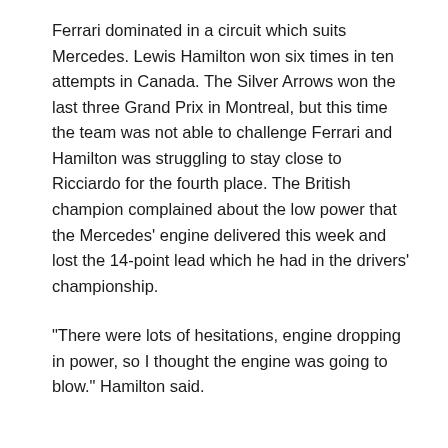Ferrari dominated in a circuit which suits Mercedes. Lewis Hamilton won six times in ten attempts in Canada. The Silver Arrows won the last three Grand Prix in Montreal, but this time the team was not able to challenge Ferrari and Hamilton was struggling to stay close to Ricciardo for the fourth place. The British champion complained about the low power that the Mercedes' engine delivered this week and lost the 14-point lead which he had in the drivers' championship.
"There were lots of hesitations, engine dropping in power, so I thought the engine was going to blow." Hamilton said.